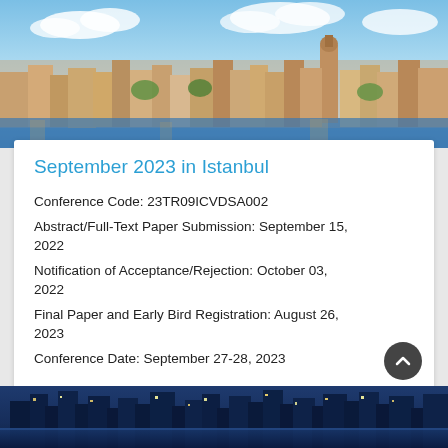[Figure (photo): Aerial/panoramic photo of Istanbul city skyline with historic buildings, Galata Tower visible, blue sky with clouds, buildings along a waterfront]
September 2023 in Istanbul
Conference Code: 23TR09ICVDSA002
Abstract/Full-Text Paper Submission: September 15, 2022
Notification of Acceptance/Rejection: October 03, 2022
Final Paper and Early Bird Registration: August 26, 2023
Conference Date: September 27-28, 2023
[Figure (photo): Night photo of a city skyline (appears to be a modern city with tall lit skyscrapers reflected in water)]